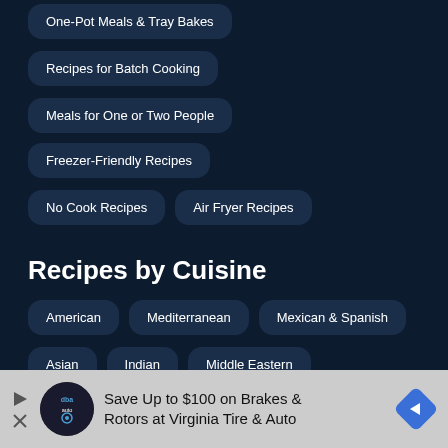One-Pot Meals & Tray Bakes
Recipes for Batch Cooking
Meals for One or Two People
Freezer-Friendly Recipes
No Cook Recipes
Air Fryer Recipes
Recipes by Cuisine
American
Mediterranean
Mexican & Spanish
Asian
Indian
Middle Eastern
Central & Eastern European
British & Irish
Healt…
[Figure (other): Advertisement banner: Save Up to $100 on Brakes & Rotors at Virginia Tire & Auto]